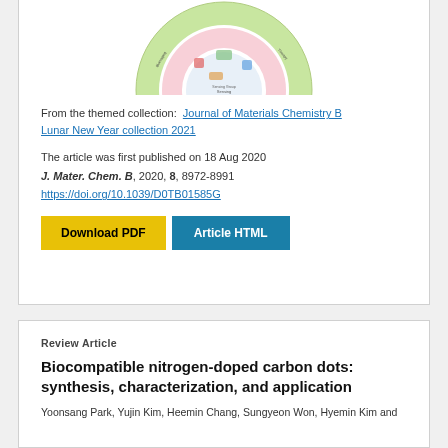[Figure (illustration): Partial circular diagram/infographic showing a themed collection image, cropped at the top — a circular chart with green outer ring and pink inner sections, depicting various application areas.]
From the themed collection:  Journal of Materials Chemistry B Lunar New Year collection 2021
The article was first published on 18 Aug 2020
J. Mater. Chem. B, 2020, 8, 8972-8991
https://doi.org/10.1039/D0TB01585G
Download PDF   Article HTML
Review Article
Biocompatible nitrogen-doped carbon dots: synthesis, characterization, and application
Yoonsang Park, Yujin Kim, Heemin Chang, Sungyeon Won, Hyemin Kim and